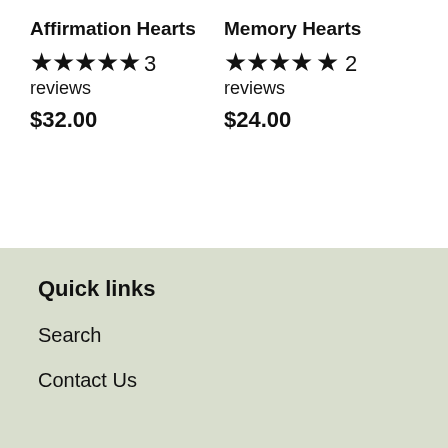Affirmation Hearts ★★★★★ 3 reviews $32.00
Memory Hearts ★★★★½ 2 reviews $24.00
Quick links
Search
Contact Us